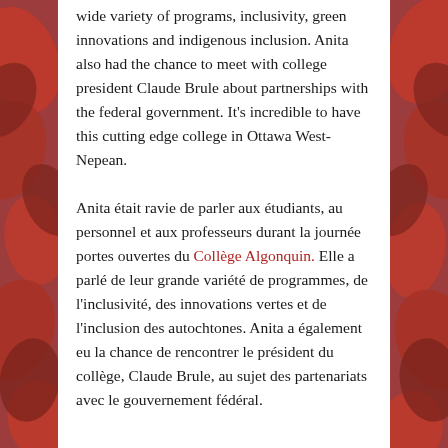wide variety of programs, inclusivity, green innovations and indigenous inclusion. Anita also had the chance to meet with college president Claude Brule about partnerships with the federal government. It's incredible to have this cutting edge college in Ottawa West-Nepean.
Anita était ravie de parler aux étudiants, au personnel et aux professeurs durant la journée portes ouvertes du Collège Algonquin. Elle a parlé de leur grande variété de programmes, de l'inclusivité, des innovations vertes et de l'inclusion des autochtones. Anita a également eu la chance de rencontrer le président du collège, Claude Brule, au sujet des partenariats avec le gouvernement fédéral.